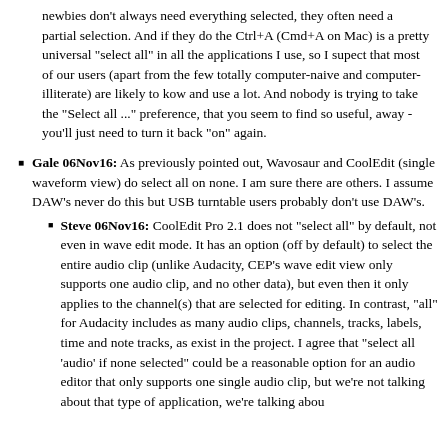newbies don't always need everything selected, they often need a partial selection. And if they do the Ctrl+A (Cmd+A on Mac) is a pretty universal "select all" in all the applications I use, so I supect that most of our users (apart from the few totally computer-naive and computer-illiterate) are likely to kow and use a lot. And nobody is trying to take the "Select all ..." preference, that you seem to find so useful, away - you'll just need to turn it back "on" again.
Gale 06Nov16: As previously pointed out, Wavosaur and CoolEdit (single waveform view) do select all on none. I am sure there are others. I assume DAW's never do this but USB turntable users probably don't use DAW's.
Steve 06Nov16: CoolEdit Pro 2.1 does not "select all" by default, not even in wave edit mode. It has an option (off by default) to select the entire audio clip (unlike Audacity, CEP's wave edit view only supports one audio clip, and no other data), but even then it only applies to the channel(s) that are selected for editing. In contrast, "all" for Audacity includes as many audio clips, channels, tracks, labels, time and note tracks, as exist in the project. I agree that "select all 'audio' if none selected" could be a reasonable option for an audio editor that only supports one single audio clip, but we're not talking about that type of application, we're talking about